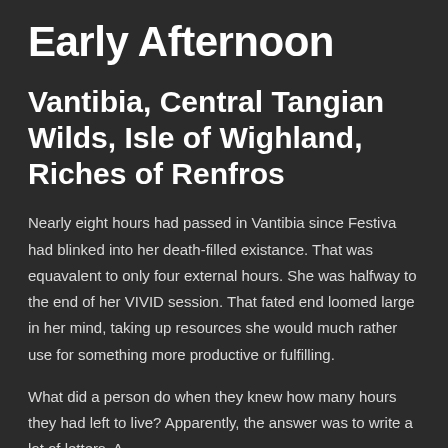Early Afternoon
Vantibia, Central Tangian Wilds, Isle of Wighland, Riches of Renfros
Nearly eight hours had passed in Vantibia since Festiva had blinked into her death-filled existance.  That was equavalent to only four external hours.  She was halfway to the end of her VIVID session.  That fated end loomed large in her mind, taking up resources she would much rather use for something more productive or fulfilling.
What did a person do when they knew how many hours they had left to live?  Apparently, the answer was to write a lot of letters.  A